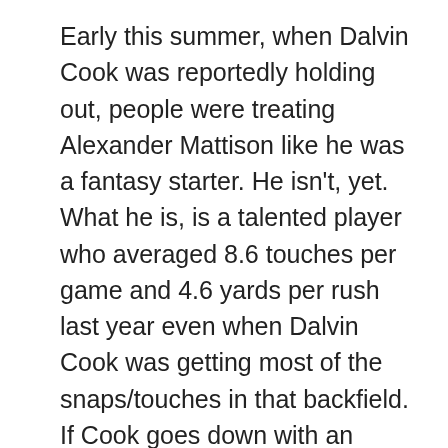Early this summer, when Dalvin Cook was reportedly holding out, people were treating Alexander Mattison like he was a fantasy starter. He isn't, yet. What he is, is a talented player who averaged 8.6 touches per game and 4.6 yards per rush last year even when Dalvin Cook was getting most of the snaps/touches in that backfield. If Cook goes down with an injury, which he has in the past, expect Mattison to inherit all of Cook's 22 touches-per-game as the starter. Backup running backs that stand to inherit that kind of workload as a starter are always worth a roster spot in all formats. Mattison isn't quite as explosive or effective in the passing game